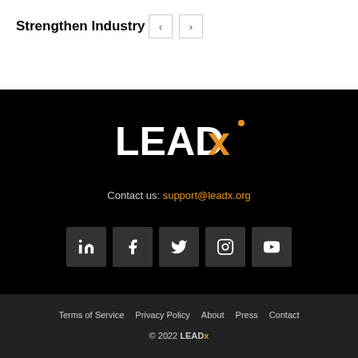Strengthen Industry
[Figure (other): Navigation previous and next arrow buttons]
[Figure (logo): LEADx logo in white and orange on black background]
Contact us: support@leadx.org
[Figure (other): Social media icon buttons: LinkedIn, Facebook, Twitter, Instagram, YouTube]
Terms of Service   Privacy Policy   About   Press   Contact
© 2022 LEAD x